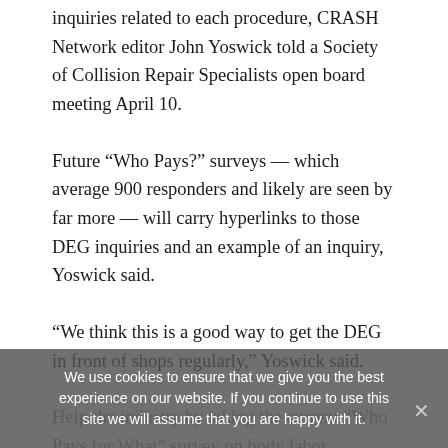inquiries related to each procedure, CRASH Network editor John Yoswick told a Society of Collision Repair Specialists open board meeting April 10.
Future “Who Pays?” surveys — which average 900 responders and likely are seen by far more — will carry hyperlinks to those DEG inquiries and an example of an inquiry, Yoswick said.
“We think this is a good way to get the DEG in front of shops regularly,” Yoswick said.
Help the industry by taking the current “Who Pays for What” survey on body labor operations here through April 30. All answers are kept confidential —
We use cookies to ensure that we give you the best experience on our website. If you continue to use this site we will assume that you are happy with it.